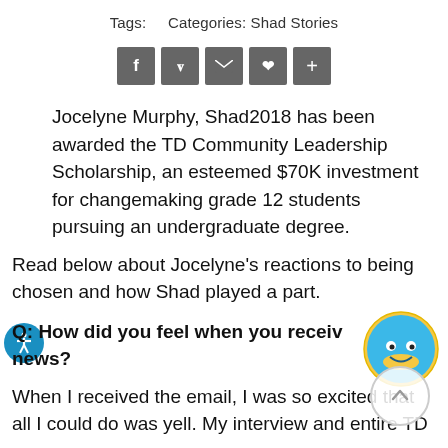Tags:    Categories: Shad Stories
[Figure (other): Row of social sharing icon buttons: Facebook, Twitter, Email, Pinterest, Plus]
Jocelyne Murphy, Shad2018 has been awarded the TD Community Leadership Scholarship, an esteemed $70K investment for changemaking grade 12 students pursuing an undergraduate degree.
Read below about Jocelyne's reactions to being chosen and how Shad played a part.
Q: How did you feel when you received the news?
When I received the email, I was so excited that all I could do was yell. My interview and entire TD